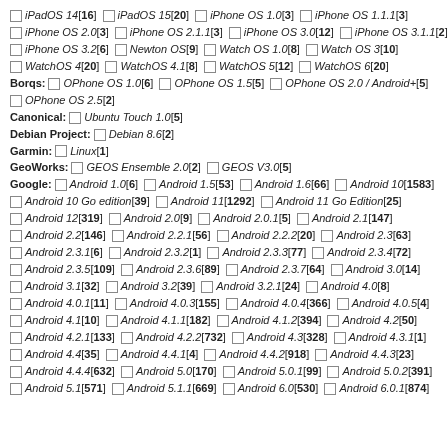iPadOS 14 [16]  iPadOS 15 [20]  iPhone OS 1.0 [3]  iPhone OS 1.1.1 [3]
iPhone OS 2.0 [3]  iPhone OS 2.1.1 [3]  iPhone OS 3.0 [12]  iPhone OS 3.1.1 [2]
iPhone OS 3.2 [6]  Newton OS [9]  Watch OS 1.0 [8]  Watch OS 3 [10]
WatchOS 4 [20]  WatchOS 4.1 [8]  WatchOS 5 [12]  WatchOS 6 [20]
Borqs: OPhone OS 1.0 [6]  OPhone OS 1.5 [5]  OPhone OS 2.0 / Android+ [5]
OPhone OS 2.5 [2]
Canonical: Ubuntu Touch 1.0 [5]
Debian Project: Debian 8.6 [2]
Garmin: Linux [1]
GeoWorks: GEOS Ensemble 2.0 [2]  GEOS V3.0 [5]
Google: Android 1.0 [6]  Android 1.5 [53]  Android 1.6 [66]  Android 10 [1583]
Android 10 Go edition [39]  Android 11 [1292]  Android 11 Go Edition [25]
Android 12 [319]  Android 2.0 [9]  Android 2.0.1 [5]  Android 2.1 [147]
Android 2.2 [146]  Android 2.2.1 [56]  Android 2.2.2 [20]  Android 2.3 [63]
Android 2.3.1 [6]  Android 2.3.2 [1]  Android 2.3.3 [77]  Android 2.3.4 [72]
Android 2.3.5 [109]  Android 2.3.6 [89]  Android 2.3.7 [64]  Android 3.0 [14]
Android 3.1 [32]  Android 3.2 [39]  Android 3.2.1 [24]  Android 4.0 [8]
Android 4.0.1 [11]  Android 4.0.3 [155]  Android 4.0.4 [366]  Android 4.0.5 [4]
Android 4.1 [10]  Android 4.1.1 [182]  Android 4.1.2 [394]  Android 4.2 [50]
Android 4.2.1 [133]  Android 4.2.2 [732]  Android 4.3 [328]  Android 4.3.1 [1]
Android 4.4 [35]  Android 4.4.1 [4]  Android 4.4.2 [918]  Android 4.4.3 [23]
Android 4.4.4 [632]  Android 5.0 [170]  Android 5.0.1 [99]  Android 5.0.2 [391]
Android 5.1 [571]  Android 5.1.1 [669]  Android 6.0 [530]  Android 6.0.1 [874]